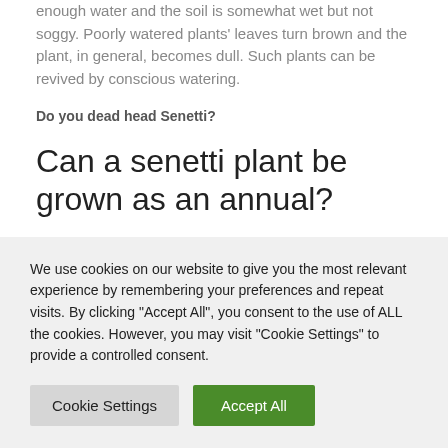enough water and the soil is somewhat wet but not soggy. Poorly watered plants' leaves turn brown and the plant, in general, becomes dull. Such plants can be revived by conscious watering.
Do you dead head Senetti?
Can a senetti plant be grown as an annual?
Senetti has excellent branching with good vigor and plants
We use cookies on our website to give you the most relevant experience by remembering your preferences and repeat visits. By clicking "Accept All", you consent to the use of ALL the cookies. However, you may visit "Cookie Settings" to provide a controlled consent.